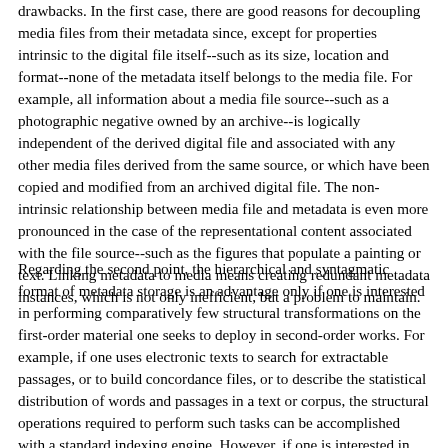drawbacks. In the first case, there are good reasons for decoupling media files from their metadata since, except for properties intrinsic to the digital file itself--such as its size, location and format--none of the metadata itself belongs to the media file. For example, all information about a media file source--such as a photographic negative owned by an archive--is logically independent of the derived digital file and associated with any other media files derived from the same source, or which have been copied and modified from an archived digital file. The non-intrinsic relationship between media file and metadata is even more pronounced in the case of the representational content associated with the file source--such as the figures that populate a painting or text. Linking metadata to media means creating redundant metadata instances, which is not only inefficient, but a problem to maintain.
Regarding the second point, the hierarchical and syntagmatic format of metadata storage is an advantage only if one is interested in performing comparatively few structural transformations on the first-order material one seeks to deploy in second-order works. For example, if one uses electronic texts to search for extractable passages, or to build concordance files, or to describe the statistical distribution of words and passages in a text or corpus, the structural operations required to perform such tasks can be accomplished with a standard indexing engine. However, if one is interested in the more thorough recombination of passages in the...